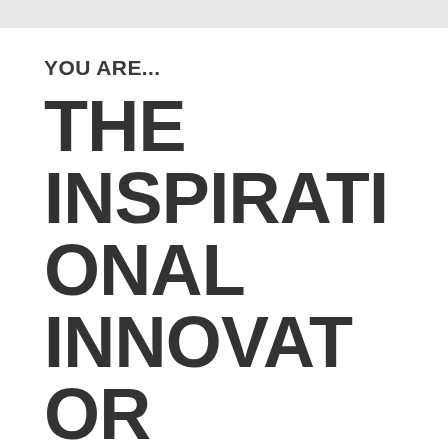YOU ARE...
THE INSPIRATIONAL INNOVATOR
For you, IT is your profession and passion – and the pivotal factor for success.
Linking your analytical skills with your